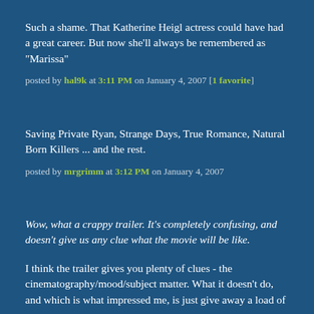Such a shame. That Katherine Heigl actress could have had a great career. But now she'll always be remembered as "Marissa"
posted by hal9k at 3:11 PM on January 4, 2007 [1 favorite]
Saving Private Ryan, Strange Days, True Romance, Natural Born Killers ... and the rest.
posted by mrgrimm at 3:12 PM on January 4, 2007
Wow, what a crappy trailer. It's completely confusing, and doesn't give us any clue what the movie will be like.
I think the trailer gives you plenty of clues - the cinematography/mood/subject matter. What it doesn't do, and which is what impressed me, is just give away a load of